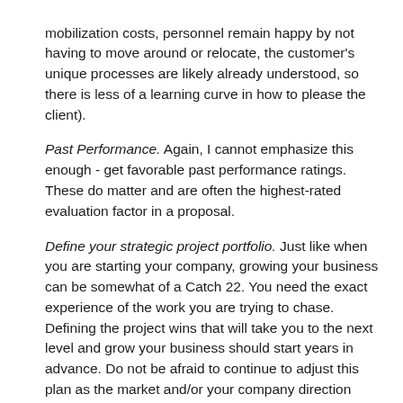mobilization costs, personnel remain happy by not having to move around or relocate, the customer's unique processes are likely already understood, so there is less of a learning curve in how to please the client).
Past Performance. Again, I cannot emphasize this enough - get favorable past performance ratings. These do matter and are often the highest-rated evaluation factor in a proposal.
Define your strategic project portfolio. Just like when you are starting your company, growing your business can be somewhat of a Catch 22. You need the exact experience of the work you are trying to chase. Defining the project wins that will take you to the next level and grow your business should start years in advance. Do not be afraid to continue to adjust this plan as the market and/or your company direction change. Go after your strategic portfolio projects with diligence, and make sure you approach with a formal capture planning process.